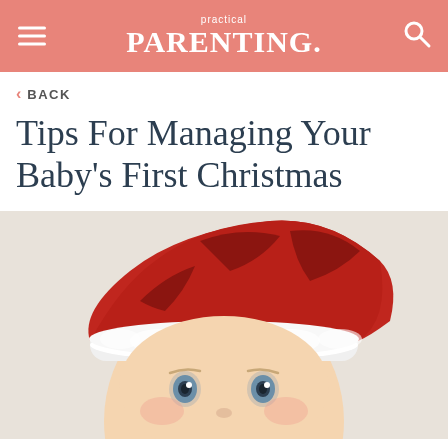practical PARENTING.
< BACK
Tips For Managing Your Baby's First Christmas
[Figure (photo): Close-up photo of a baby wearing a red and white Santa hat, with blue eyes visible, on a light beige background.]